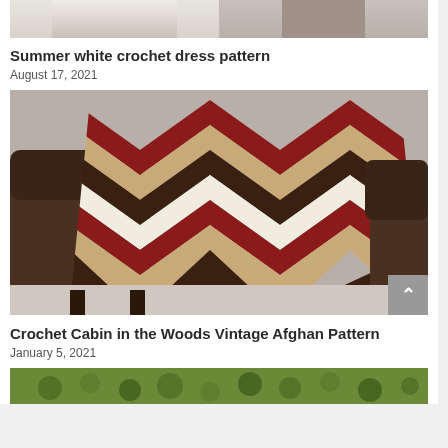[Figure (photo): Top portion of two crochet dress photos side by side, partially cropped]
Summer white crochet dress pattern
August 17, 2021
[Figure (photo): Crochet Cabin in the Woods Vintage Afghan blanket in chevron pattern of dark red, brown, tan and white, draped over a dark leather sofa]
Crochet Cabin in the Woods Vintage Afghan Pattern
January 5, 2021
[Figure (photo): Bottom portion of a green crochet item, partially visible]